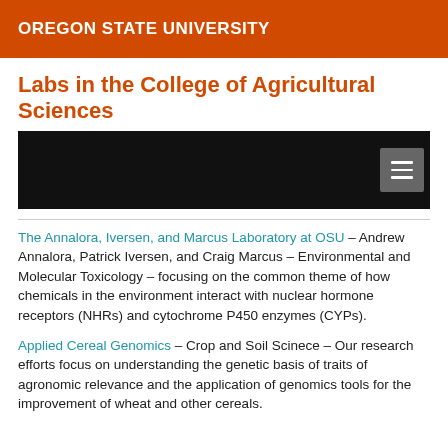OREGON STATE UNIVERSITY
Labs in the College of Agricultural Sciences
[Figure (screenshot): Dark navigation bar with hamburger menu icon on the right]
The Annalora, Iversen, and Marcus Laboratory at OSU – Andrew Annalora, Patrick Iversen, and Craig Marcus – Environmental and Molecular Toxicology – focusing on the common theme of how chemicals in the environment interact with nuclear hormone receptors (NHRs) and cytochrome P450 enzymes (CYPs).
Applied Cereal Genomics – Crop and Soil Scinece – Our research efforts focus on understanding the genetic basis of traits of agronomic relevance and the application of genomics tools for the improvement of wheat and other cereals.